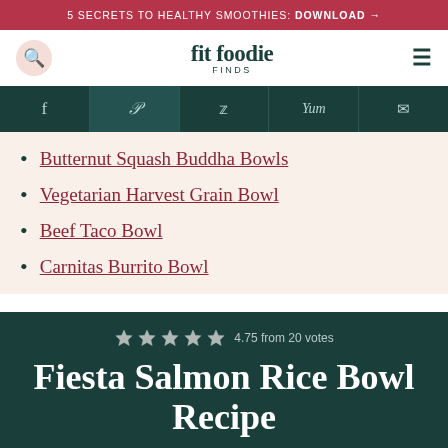5 SECRETS TO HEALTHY SMOOTHIES: DOWNLOAD →
[Figure (logo): Fit Foodie Finds logo with search icon and hamburger menu]
[Figure (infographic): Social share bar with Facebook, Pinterest, Twitter, Yummly, and Email icons on dark teal background]
Butternut Squash Buddha Bowls
Vegetarian Harvest Grain Bowl
Beef Taco Bowl
Carnitas Burrito Bowl
Fiesta Salmon Rice Bowl Recipe
4.75 from 20 votes
This food-healthy fast-and-clean recipe includes clean ingredients…